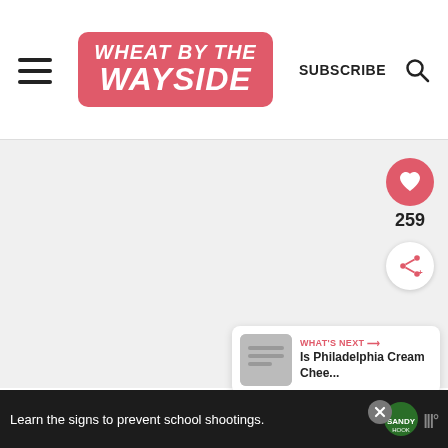[Figure (logo): Wheat by the Wayside blog logo — red/pink rounded rectangle with white bold italic text reading WHEAT BY THE WAYSIDE]
SUBSCRIBE
[Figure (illustration): Search icon (magnifying glass)]
[Figure (illustration): Hamburger menu icon (three horizontal lines)]
[Figure (illustration): Like/heart button (red circle with white heart) showing count 259, and a share button (white circle with red share icon)]
259
WHAT'S NEXT → Is Philadelphia Cream Chee...
Learn the signs to prevent school shootings.